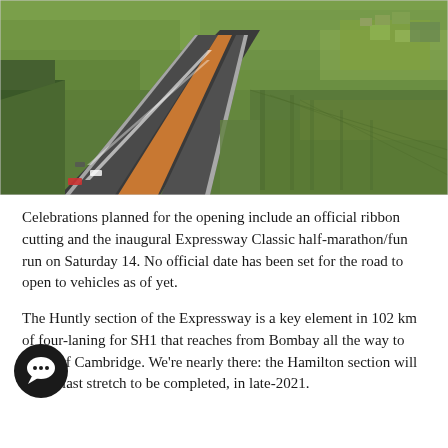[Figure (photo): Aerial photograph of a highway/expressway under construction running through green farmland. The road is a dual carriageway with an orange/brown median strip, surrounded by flat green fields. Some vehicles visible on the road.]
Celebrations planned for the opening include an official ribbon cutting and the inaugural Expressway Classic half-marathon/fun run on Saturday 14. No official date has been set for the road to open to vehicles as of yet.
The Huntly section of the Expressway is a key element in 102 km of four-laning for SH1 that reaches from Bombay all the way to south of Cambridge. We're nearly there: the Hamilton section will be the last stretch to be completed, in late-2021.